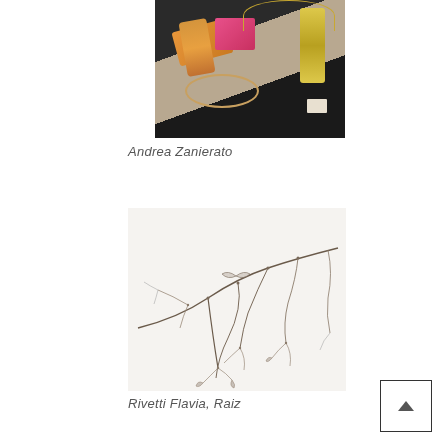[Figure (photo): Photo of jewelry displayed in a case — bracelets, a pink box, gold pendant necklace on dark background]
Andrea Zanierato
[Figure (photo): Photo of a branch-like metal jewelry piece with delicate wire tendrils and small leaf/butterfly shapes on white background]
Rivetti Flavia, Raiz